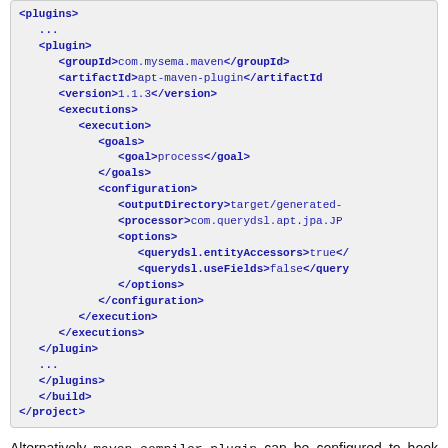[Figure (screenshot): XML/Maven POM code block showing plugin configuration with groupId, artifactId, version, executions, goals, configuration, outputDirectory, processor, options elements]
Alternatively maven-compiler-plugin can be configured to hook APT directly into compilation:
[Figure (screenshot): Start of another XML code block (partially visible)]